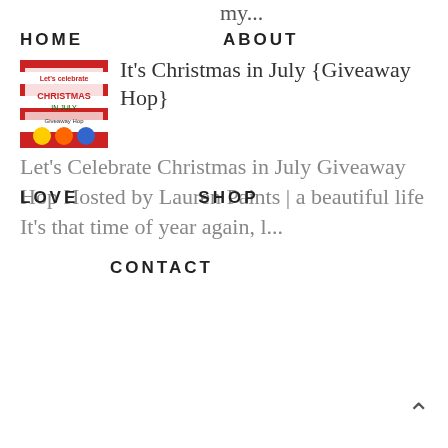my...
HOME    ABOUT
[Figure (photo): Christmas in July Giveaway Hop thumbnail image with red and white stripes and holiday decorations]
It's Christmas in July {Giveaway Hop}
LOVE    SHOP
Let's Celebrate Christmas in July Giveaway Hop Hosted by Lauren Paints | a beautiful life It's that time of year again, l...
CONTACT
There are No Bad Vacations When You are in Good Company
Traveling. Vacations.